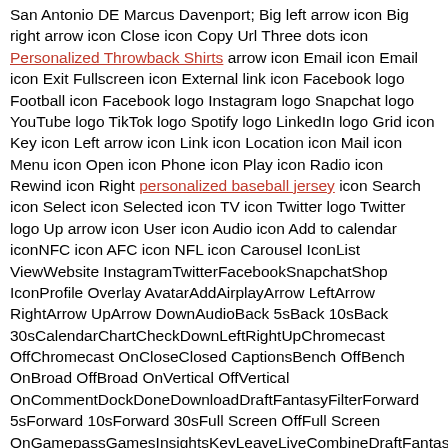San Antonio DE Marcus Davenport; Big left arrow icon Big right arrow icon Close icon Copy Url Three dots icon Personalized Throwback Shirts arrow icon Email icon Email icon Exit Fullscreen icon External link icon Facebook logo Football icon Facebook logo Instagram logo Snapchat logo YouTube logo TikTok logo Spotify logo LinkedIn logo Grid icon Key icon Left arrow icon Link icon Location icon Mail icon Menu icon Open icon Phone icon Play icon Radio icon Rewind icon Right personalized baseball jersey icon Search icon Select icon Selected icon TV icon Twitter logo Twitter logo Up arrow icon User icon Audio icon Add to calendar iconNFC icon AFC icon NFL icon Carousel IconList ViewWebsite InstagramTwitterFacebookSnapchatShop IconProfile Overlay AvatarAddAirplayArrow LeftArrow RightArrow UpArrow DownAudioBack 5sBack 10sBack 30sCalendarChartCheckDownLeftRightUpChromecast OffChromecast OnCloseClosed CaptionsBench OffBench OnBroad OffBroad OnVertical OffVertical OnCommentDockDoneDownloadDraftFantasyFilterForward 5sForward 10sForward 30sFull Screen OffFull Screen OnGamepassGamesInsightsKeyLeaveLiveCombineDraftFantasyM GamesMenu NetworkMenu NewsMenu PlayoffsMenu Pro BowlMenu ShopMenu StandingsMenu StatsMenu Super BowlMenu TeamsMenu TicketsMenuMore HorizontalMore VerticalMy LocationNetworkNewsPauseplayMultiple PlayersSingle PlayerPlaylistPlayoffsPro BowlPurgeRefreshRemoveSearchSettingsShare AndroidShare Copy URLShare EmailShare FacebookShare InstagramShare iOSShare SnapchatShare TwitterSkip NextSkip